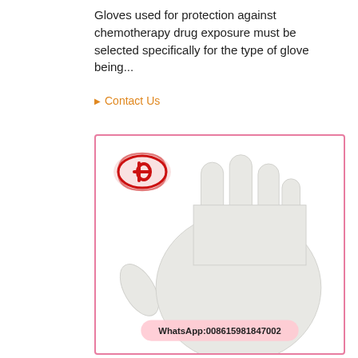Gloves used for protection against chemotherapy drug exposure must be selected specifically for the type of glove being...
Contact Us
[Figure (photo): Product photo of a white latex/nitrile examination glove displayed on a hand form, with a red company logo in the upper left corner and a WhatsApp contact number overlay at the bottom.]